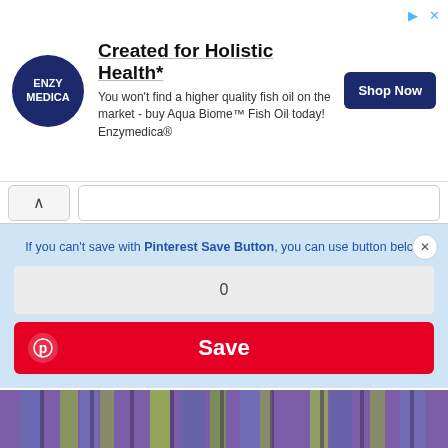[Figure (screenshot): Advertisement banner for Enzymedica featuring logo, 'Created for Holistic Health*' headline, fish oil description, and 'Shop Now' button]
[Figure (screenshot): Browser navigation bar with back chevron and search/address bar]
If you can't save with Pinterest Save Button, you can use button below
0
[Figure (screenshot): Red Pinterest Save button with Pinterest logo icon]
[Figure (photo): Close-up photo of colorful knitted or woven fabric in purple, green, and blue stripes]